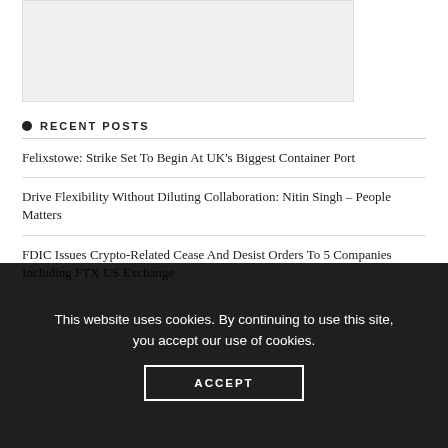[Figure (other): Grey placeholder image box at top of page]
RECENT POSTS
Felixstowe: Strike Set To Begin At UK's Biggest Container Port
Drive Flexibility Without Diluting Collaboration: Nitin Singh – People Matters
FDIC Issues Crypto-Related Cease And Desist Orders To 5 Companies Including FTX US Exchange
This website uses cookies. By continuing to use this site, you accept our use of cookies.
ACCEPT